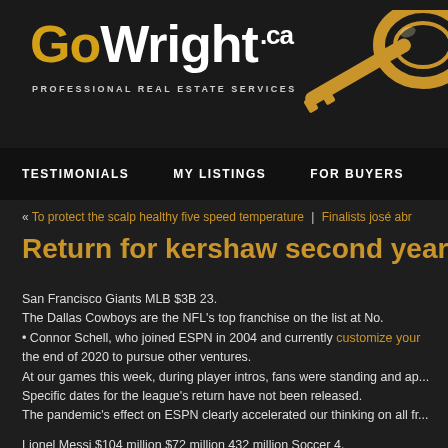GoWright.ca — PROFESSIONAL REAL ESTATE SERVICES
[Figure (logo): GoWright.ca logo with golden key icon and tagline PROFESSIONAL REAL ESTATE SERVICES]
TESTIMONIALS | MY LISTINGS | FOR BUYERS | F...
« To protect the scalp healthy five speed temperature | Finalists josé abr...
Return for kershaw second year as k
San Francisco Giants MLB $3B 23.
The Dallas Cowboys are the NFL's top franchise on the list at No.
• Connor Schell, who joined ESPN in 2004 and currently customize your... the end of 2020 to pursue other ventures.
At our games this week, during player intros, fans were standing and ap...
Specific dates for the league's return have not been released.
The pandemic's effect on ESPN clearly accelerated our thinking on all fr...
Lionel Messi $104 million $72 million 432 million Soccer 4.
For the Wolfpack, their defense helped them jump out to an 18 lead und...
Boston Red Sox MLB $3B 17.
Boston Celtics NBA $3B 20.
Today, as a result of these circumstances, we informed our employees t...